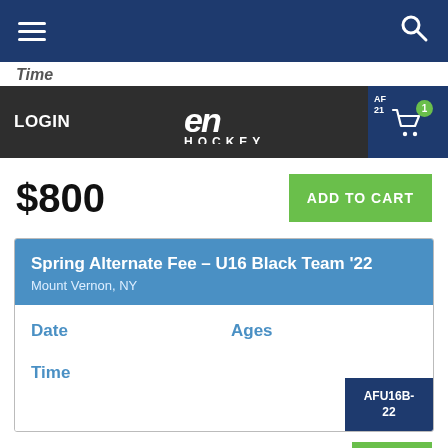Navigation bar with hamburger menu, EN Hockey logo, login, cart
$800
ADD TO CART
Spring Alternate Fee – U16 Black Team '22
Mount Vernon, NY
| Date | Ages |
| --- | --- |
|  |  |
| Time |  |
AFU16B-22
$800